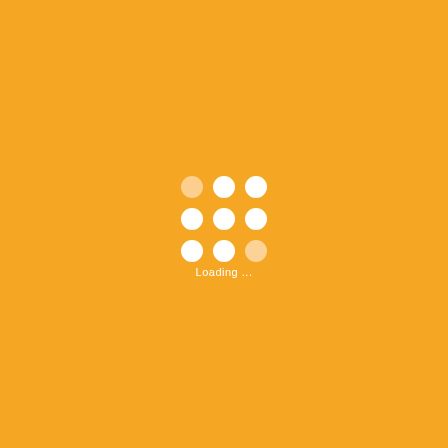[Figure (infographic): A 3x3 grid of white dots (circles) on an orange background, resembling a loading spinner icon. The top-left dot appears slightly more transparent/faded. Below the grid is the text 'Loading ...' in white.]
Loading ...